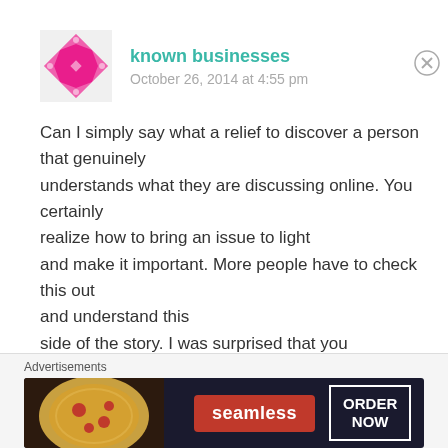known businesses
October 26, 2014 at 4:55 pm
Can I simply say what a relief to discover a person that genuinely understands what they are discussing online. You certainly realize how to bring an issue to light and make it important. More people have to check this out and understand this side of the story. I was surprised that you aren’t more popular since you surely possess the gift.
Advertisements
[Figure (screenshot): Seamless food delivery advertisement banner with pizza image, Seamless logo in red, and ORDER NOW button]